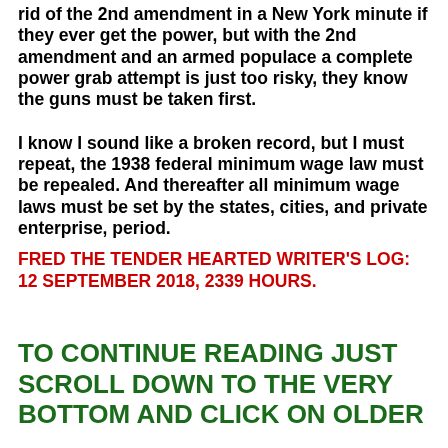rid of the 2nd amendment in a New York minute if they ever get the power, but with the 2nd amendment and an armed populace a complete power grab attempt is just too risky, they know the guns must be taken first.
I know I sound like a broken record, but I must repeat, the 1938 federal minimum wage law must be repealed. And thereafter all minimum wage laws must be set by the states, cities, and private enterprise, period.
FRED THE TENDER HEARTED WRITER'S LOG: 12 SEPTEMBER 2018, 2339 HOURS.
TO CONTINUE READING JUST SCROLL DOWN TO THE VERY BOTTOM AND CLICK ON OLDER